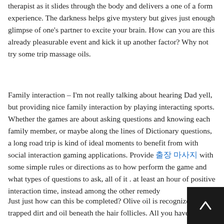therapist as it slides through the body and delivers a one of a form experience. The darkness helps give mystery but gives just enough glimpse of one's partner to excite your brain. How can you are this already pleasurable event and kick it up another factor? Why not try some trip massage oils.
Family interaction – I'm not really talking about hearing Dad yell, but providing nice family interaction by playing interacting sports. Whether the games are about asking questions and knowing each family member, or maybe along the lines of Dictionary questions, a long road trip is kind of ideal moments to benefit from with social interaction gaming applications. Provide 출장 마사지 with some simple rules or directions as to how perform the game and what types of questions to ask, all of it . at least an hour of positive interaction time, instead among the other remedy
Just just how can this be completed? Olive oil is recognized to lift trapped dirt and oil beneath the hair follicles. All you have to do is